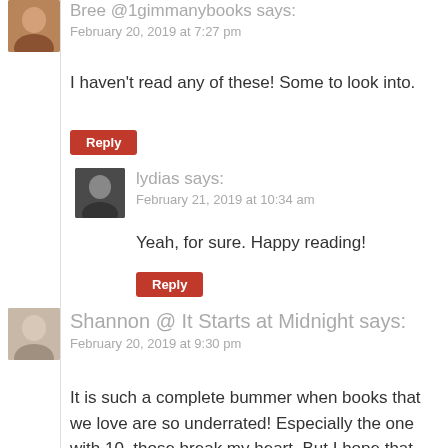Bree @1gimmanybooks says:
February 20, 2019 at 7:27 pm
I haven't read any of these! Some to look into.
Reply
lydias says:
February 21, 2019 at 10:34 am
Yeah, for sure. Happy reading!
Reply
Shannon @ It Starts at Midnight says:
February 20, 2019 at 9:30 pm
It is such a complete bummer when books that we love are so underrated! Especially the one with 10, those break my heart. But I hope that posts like this will get some of these a few more fans! I am not familiar with any of these, but I am going to check them out now, thanks for sharing